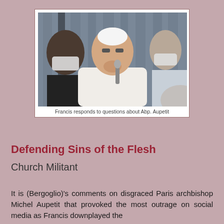[Figure (photo): Pope Francis in white papal vestments holding a microphone and speaking, flanked by two people wearing face masks, on what appears to be a plane with grey curtains in the background.]
Francis responds to questions about Abp. Aupetit
Defending Sins of the Flesh
Church Militant
It is (Bergoglio)'s comments on disgraced Paris archbishop Michel Aupetit that provoked the most outrage on social media as Francis downplayed the